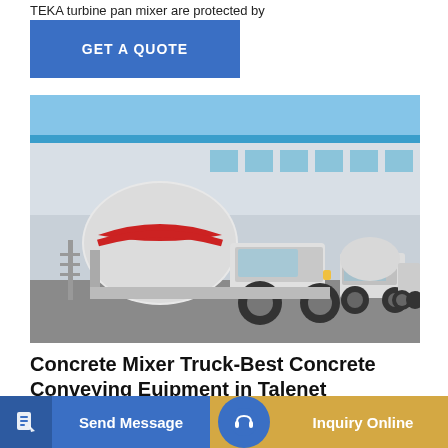TEKA turbine pan mixer are protected by
[Figure (other): Blue 'GET A QUOTE' button with white text on a blue rectangle background]
[Figure (photo): A row of white concrete mixer trucks parked in front of a large industrial warehouse building with a blue sky background. The foreground truck has a prominent red stripe on its rotating drum.]
Concrete Mixer Truck-Best Concrete Conveying Euipment in Talenet
[Figure (screenshot): Bottom navigation bar with 'Send Message' button (blue background, document icon on left) and 'Inquiry Online' button (golden/tan background, headset icon in blue circle)]